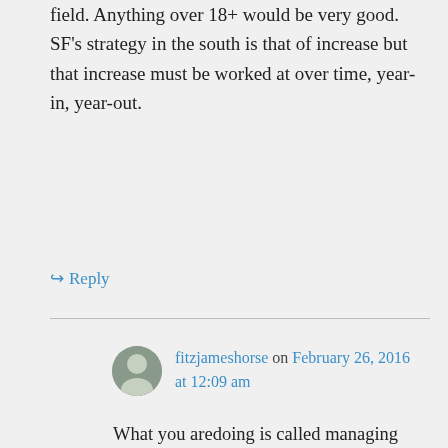field. Anything over 18+ would be very good. SF's strategy in the south is that of increase but that increase must be worked at over time, year-in, year-out.
↳ Reply
fitzjameshorse on February 26, 2016 at 12:09 am
What you aredoing is called managing expectations. All reasonable predictions have SF in the mid 20s and thats down on what was being predicted some months ago. There is no heady talk of Gerry...